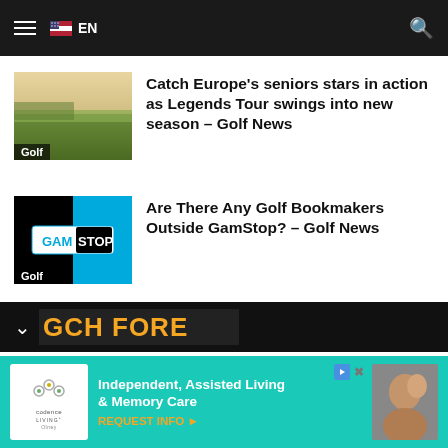EN (navigation bar with hamburger menu and search icon)
[Figure (screenshot): Thumbnail image of a golf course landscape]
Catch Europe’s seniors stars in action as Legends Tour swings into new season – Golf News
[Figure (logo): GamStop logo thumbnail with black and cyan background]
Are There Any Golf Bookmakers Outside GamStop? – Golf News
< >
[Figure (screenshot): Partial banner strip at bottom of content area showing dark background with partial text]
[Figure (infographic): Advertisement for Codence Living - Independent, Assisted Living & Memory Care. REQUEST INFO.]